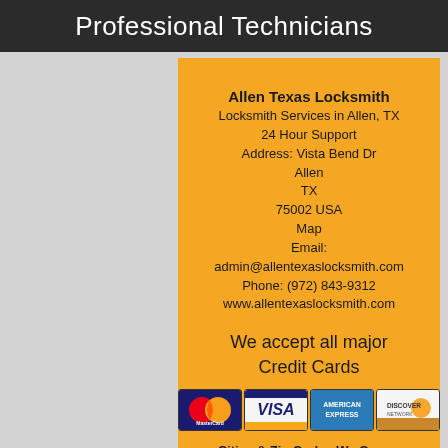Professional Technicians
Allen Texas Locksmith
Locksmith Services in Allen, TX
24 Hour Support
Address: Vista Bend Dr
Allen
TX
75002 USA
Map
Email:
admin@allentexaslocksmith.com
Phone: (972) 843-9312
www.allentexaslocksmith.com
We accept all major Credit Cards
[Figure (logo): Credit card logos: MasterCard, Visa, American Express, Discover]
Cities & Zip Codes We Cover: